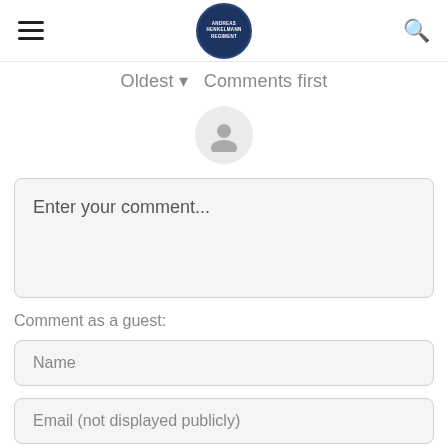≡ [logo] 🔍
Oldest ▼   Comments first
[Figure (illustration): User avatar icon — gray circle with person silhouette]
Enter your comment...
Comment as a guest:
Name
Email (not displayed publicly)